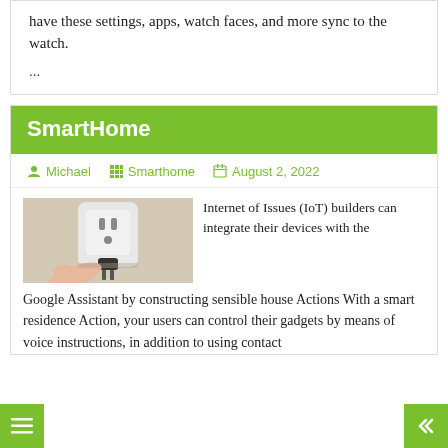have these settings, apps, watch faces, and more sync to the watch.
...
SmartHome
Michael   Smarthome   August 2, 2022
[Figure (photo): A hand plugging a black electrical plug into a white smart plug outlet mounted on a wall.]
Internet of Issues (IoT) builders can integrate their devices with the Google Assistant by constructing sensible house Actions With a smart residence Action, your users can control their gadgets by means of voice instructions, in addition to using contact